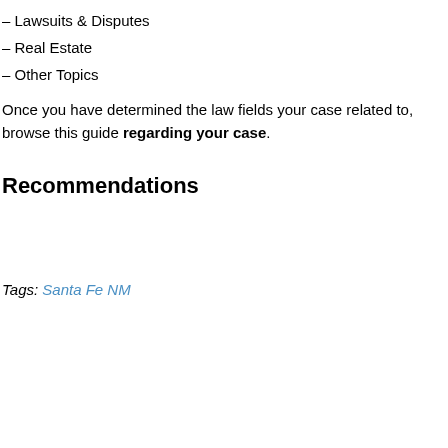– Lawsuits & Disputes
– Real Estate
– Other Topics
Once you have determined the law fields your case related to, browse this guide regarding your case.
Recommendations
Tags: Santa Fe NM